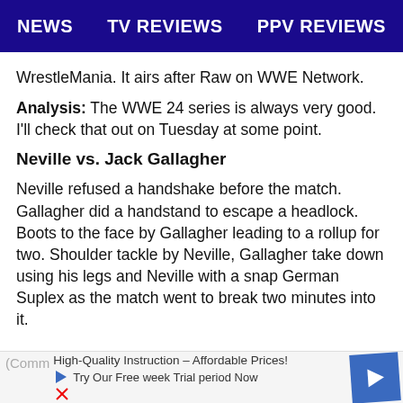NEWS   TV REVIEWS   PPV REVIEWS
WrestleMania. It airs after Raw on WWE Network.
Analysis: The WWE 24 series is always very good. I'll check that out on Tuesday at some point.
Neville vs. Jack Gallagher
Neville refused a handshake before the match. Gallagher did a handstand to escape a headlock. Boots to the face by Gallagher leading to a rollup for two. Shoulder tackle by Neville, Gallagher take down using his legs and Neville with a snap German Suplex as the match went to break two minutes into it.
(Comm... [ad] High-Quality Instruction – Affordable Prices! Try Our Free week Trial period Now